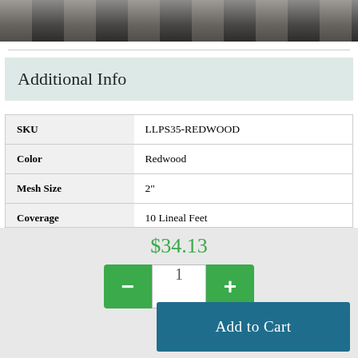[Figure (photo): Partial product photo showing a dark background with texture, cropped at top of page]
Additional Info
| Attribute | Value |
| --- | --- |
| SKU | LLPS35-REDWOOD |
| Color | Redwood |
| Mesh Size | 2" |
| Coverage | 10 Lineal Feet |
| Visibility Blockade | 75 percent |
$34.13
- 1 +
Add to Cart